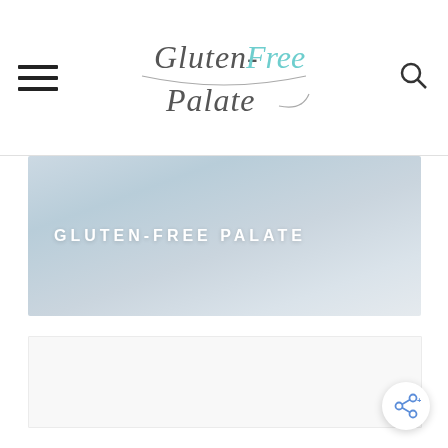Gluten-Free Palate
[Figure (screenshot): Hero banner with text GLUTEN-FREE PALATE on a light blue-grey gradient background]
[Figure (screenshot): White content area below the hero banner]
[Figure (illustration): Share icon button (circular white button with share/network icon) in bottom right corner]